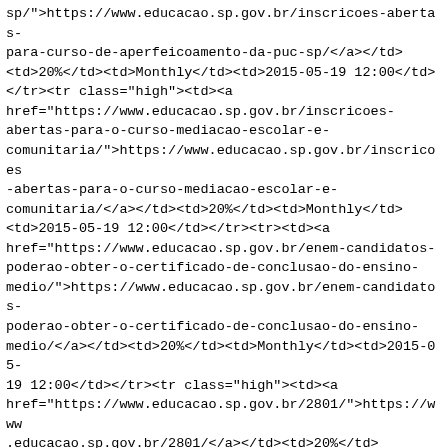sp/">https://www.educacao.sp.gov.br/inscricoes-abertas-para-curso-de-aperfeicoamento-da-puc-sp/</a></td><td>20%</td><td>Monthly</td><td>2015-05-19 12:00</td></tr><tr class="high"><td><a href="https://www.educacao.sp.gov.br/inscricoes-abertas-para-o-curso-mediacao-escolar-e-comunitaria/">https://www.educacao.sp.gov.br/inscricoes-abertas-para-o-curso-mediacao-escolar-e-comunitaria/</a></td><td>20%</td><td>Monthly</td><td>2015-05-19 12:00</td></tr><tr><td><a href="https://www.educacao.sp.gov.br/enem-candidatos-poderao-obter-o-certificado-de-conclusao-do-ensino-medio/">https://www.educacao.sp.gov.br/enem-candidatos-poderao-obter-o-certificado-de-conclusao-do-ensino-medio/</a></td><td>20%</td><td>Monthly</td><td>2015-05-19 12:00</td></tr><tr class="high"><td><a href="https://www.educacao.sp.gov.br/2801/">https://www.educacao.sp.gov.br/2801/</a></td><td>20%</td><td>Monthly</td><td>2015-05-18 16:33</td></tr><tr><td><a href="https://www.educacao.sp.gov.br/conceitos-de-justica-e-cidadania-sao-discutidos-em-sala-de-aula-por-meio-de-parceria/">https://www.educacao.sp.gov.br/conceitos-de-justica-e-cidadania-sao-discutidos-em-sala-de-aula-por-meio-de-parceria/</a></td><td>20%</td><td>Monthly</td><td>2015-05-18 15:35</td></tr><tr class="high"><td><a href="https://www.educacao.sp.gov.br/gremio-estudantil-participe-da-pesquisa-e-fique-por-dentro-de-todas-as-oportunidades-oferecidas-pela-educacao/">https://www.educacao.sp.gov.br/gremio-